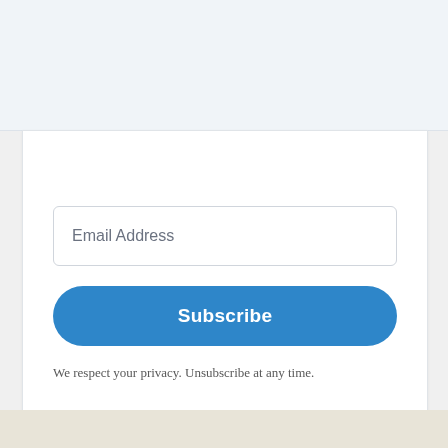[Figure (screenshot): Email subscription form with an email address input field, a blue Subscribe button, and a privacy notice text below.]
Email Address
Subscribe
We respect your privacy. Unsubscribe at any time.